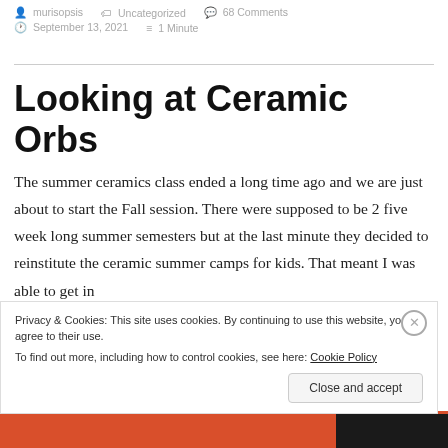murisopsis   Uncategorized   68 Comments   September 13, 2021   1 Minute
Looking at Ceramic Orbs
The summer ceramics class ended a long time ago and we are just about to start the Fall session. There were supposed to be 2 five week long summer semesters but at the last minute they decided to reinstitute the ceramic summer camps for kids. That meant I was able to get in
Privacy & Cookies: This site uses cookies. By continuing to use this website, you agree to their use.
To find out more, including how to control cookies, see here: Cookie Policy
[Close and accept]